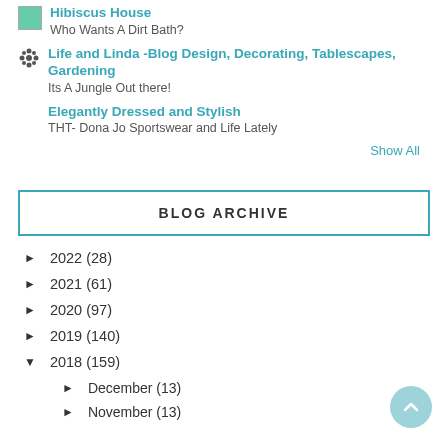Hibiscus House — Who Wants A Dirt Bath?
Life and Linda -Blog Design, Decorating, Tablescapes, Gardening — Its A Jungle Out there!
Elegantly Dressed and Stylish — THT- Dona Jo Sportswear and Life Lately
Show All
BLOG ARCHIVE
► 2022 (28)
► 2021 (61)
► 2020 (97)
► 2019 (140)
▼ 2018 (159)
► December (13)
► November (13)